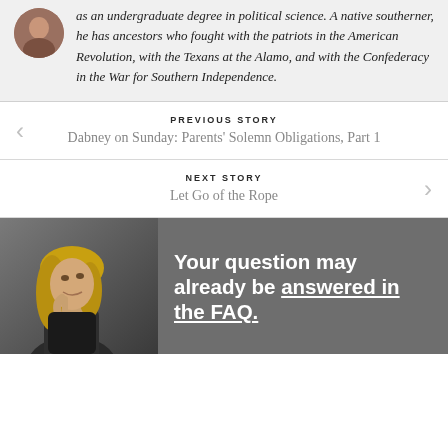as an undergraduate degree in political science. A native southerner, he has ancestors who fought with the patriots in the American Revolution, with the Texans at the Alamo, and with the Confederacy in the War for Southern Independence.
PREVIOUS STORY
Dabney on Sunday: Parents' Solemn Obligations, Part 1
NEXT STORY
Let Go of the Rope
[Figure (photo): Woman looking upward thoughtfully with finger to chin, gray background, FAQ banner image]
Your question may already be answered in the FAQ.